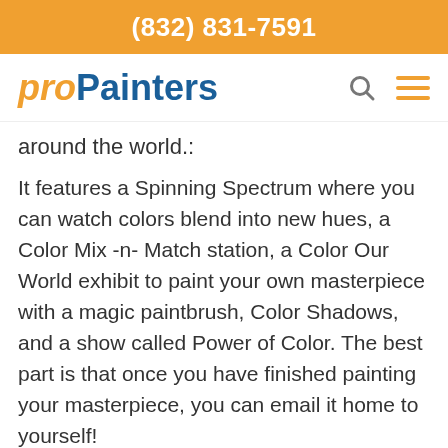(832) 831-7591
[Figure (logo): proPainters logo with search and menu icons]
around the world.:
It features a Spinning Spectrum where you can watch colors blend into new hues, a Color Mix -n- Match station, a Color Our World exhibit to paint your own masterpiece with a magic paintbrush, Color Shadows, and a show called Power of Color. The best part is that once you have finished painting your masterpiece, you can email it home to yourself!